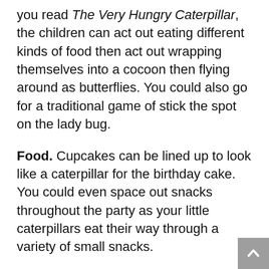you read The Very Hungry Caterpillar, the children can act out eating different kinds of food then act out wrapping themselves into a cocoon then flying around as butterflies. You could also go for a traditional game of stick the spot on the lady bug.
Food. Cupcakes can be lined up to look like a caterpillar for the birthday cake. You could even space out snacks throughout the party as your little caterpillars eat their way through a variety of small snacks.
Favors. A board book or a soft bug toy would make perfect party favors. A wooden earthworm can still be a fascinating quiet toy for a toddler as they figure out why the worm changes shape as they twist it. For a